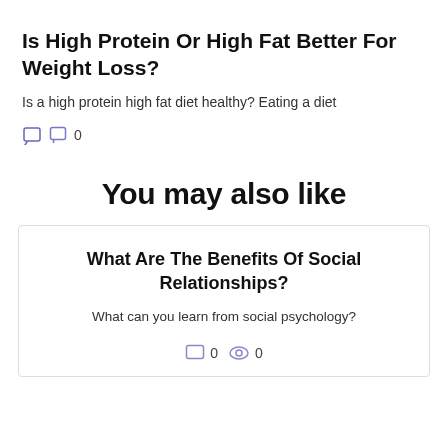Is High Protein Or High Fat Better For Weight Loss?
Is a high protein high fat diet healthy? Eating a diet
0
You may also like
What Are The Benefits Of Social Relationships?
What can you learn from social psychology?
0   0